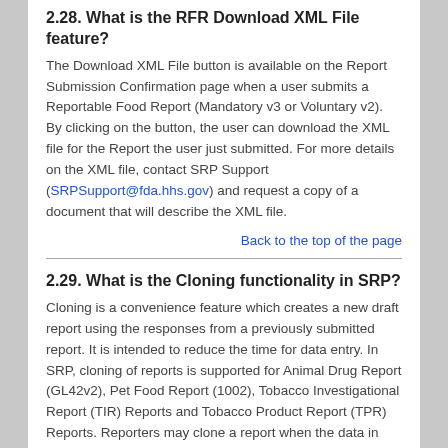2.28. What is the RFR Download XML File feature?
The Download XML File button is available on the Report Submission Confirmation page when a user submits a Reportable Food Report (Mandatory v3 or Voluntary v2). By clicking on the button, the user can download the XML file for the Report the user just submitted. For more details on the XML file, contact SRP Support (SRPSupport@fda.hhs.gov) and request a copy of a document that will describe the XML file.
Back to the top of the page
2.29. What is the Cloning functionality in SRP?
Cloning is a convenience feature which creates a new draft report using the responses from a previously submitted report. It is intended to reduce the time for data entry. In SRP, cloning of reports is supported for Animal Drug Report (GL42v2), Pet Food Report (1002), Tobacco Investigational Report (TIR) Reports and Tobacco Product Report (TPR) Reports. Reporters may clone a report when the data in certain sections of the report is/are either identical or very similar to a report available to be cloned. In TIR, for example, in the cloned report, the reporter will find fields in sections such as Contact Information